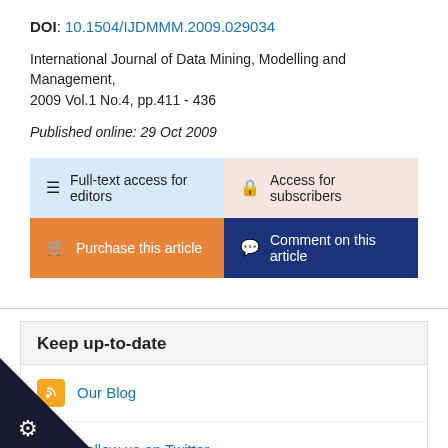DOI: 10.1504/IJDMMM.2009.029034
International Journal of Data Mining, Modelling and Management, 2009 Vol.1 No.4, pp.411 - 436
Published online: 29 Oct 2009
Full-text access for editors
Access for subscribers
Purchase this article
Comment on this article
Keep up-to-date
Our Blog
Follow us on Twitter